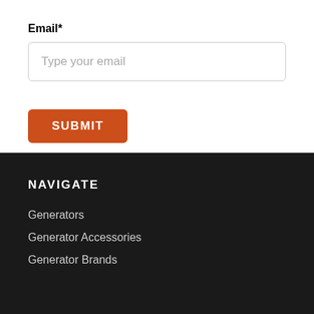Email*
Type your email
SUBMIT
NAVIGATE
Generators
Generator Accessories
Generator Brands